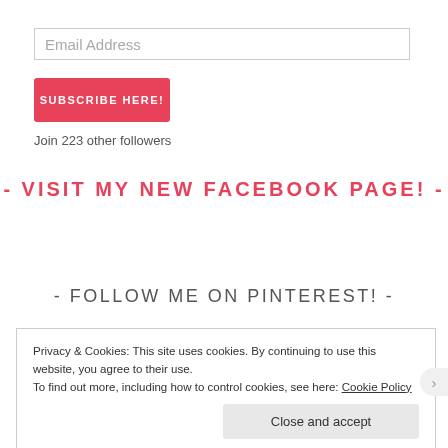Email Address
SUBSCRIBE HERE!
Join 223 other followers
- VISIT MY NEW FACEBOOK PAGE! -
- FOLLOW ME ON PINTEREST! -
Privacy & Cookies: This site uses cookies. By continuing to use this website, you agree to their use. To find out more, including how to control cookies, see here: Cookie Policy
Close and accept